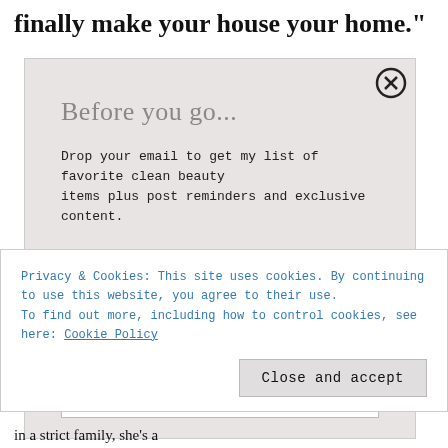finally make your house your home."
[Figure (screenshot): Modal popup dialog with 'Before you go...' heading, fields for FIRST NAME and EMAIL ADDRESS, and a close button]
Privacy & Cookies: This site uses cookies. By continuing to use this website, you agree to their use.
To find out more, including how to control cookies, see here: Cookie Policy
Close and accept
in a strict family, she's a